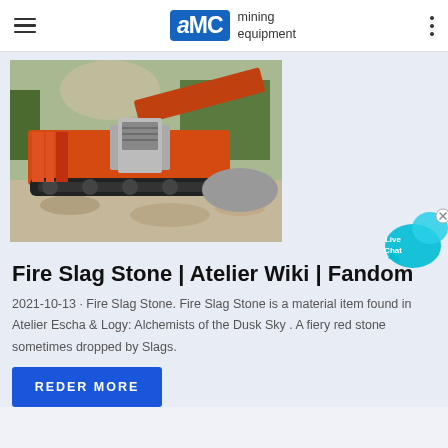AMC mining equipment
[Figure (photo): Orange mining crusher/screening machine on a construction/mining site with dust and gravel, outdoors with trees in background]
[Figure (other): Live Chat speech bubble widget in cyan/blue color with an X close button]
Fire Slag Stone | Atelier Wiki | Fandom
2021-10-13 · Fire Slag Stone. Fire Slag Stone is a material item found in Atelier Escha & Logy: Alchemists of the Dusk Sky . A fiery red stone sometimes dropped by Slags.
REDER MORE